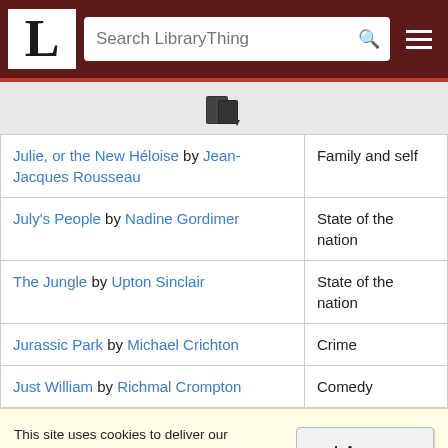LibraryThing — Search LibraryThing
[Figure (logo): LibraryThing logo with books icon]
| Book | Category |
| --- | --- |
| Julie, or the New Héloise by Jean-Jacques Rousseau | Family and self |
| July's People by Nadine Gordimer | State of the nation |
| The Jungle by Upton Sinclair | State of the nation |
| Jurassic Park by Michael Crichton | Crime |
| Just William by Richmal Crompton | Comedy |
This site uses cookies to deliver our services, improve performance, for analytics, and (if not signed in) for advertising. By using LibraryThing you acknowledge that you have read and understand our Terms of Service and Privacy Policy. Your use of the site and services is subject to these policies and terms.